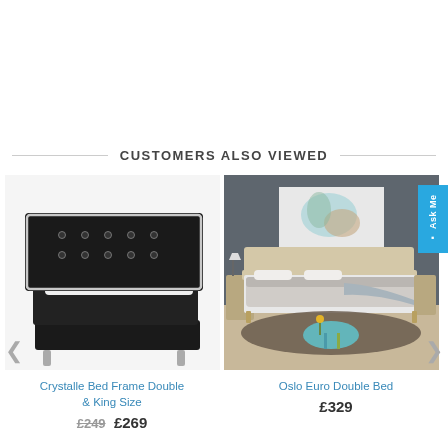CUSTOMERS ALSO VIEWED
[Figure (photo): Black upholstered bed frame with tufted headboard featuring crystal buttons and chrome trim, white mattress, silver legs — Crystalle Bed Frame Double & King Size]
Crystalle Bed Frame Double & King Size
£249  £269
[Figure (photo): Modern Scandinavian-style Oslo Euro Double Bed in a styled bedroom with dark grey wall, abstract art, grey bedding, and wooden floors]
Oslo Euro Double Bed
£329